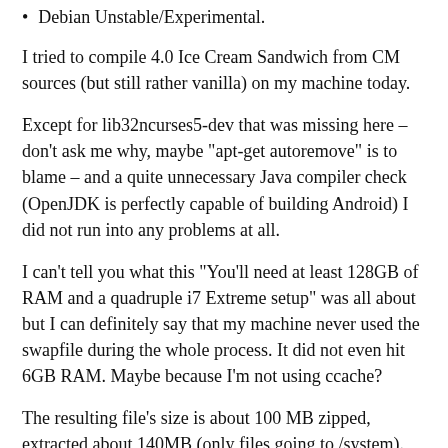Debian Unstable/Experimental.
I tried to compile 4.0 Ice Cream Sandwich from CM sources (but still rather vanilla) on my machine today.
Except for lib32ncurses5-dev that was missing here – don't ask me why, maybe “apt-get autoremove” is to blame – and a quite unnecessary Java compiler check (OpenJDK is perfectly capable of building Android) I did not run into any problems at all.
I can’t tell you what this “You’ll need at least 128GB of RAM and a quadruple i7 Extreme setup” was all about but I can definitely say that my machine never used the swapfile during the whole process. It did not even hit 6GB RAM. Maybe because I’m not using ccache?
The resulting file’s size is about 100 MB zipped, extracted about 140MB (only files going to /system). The system